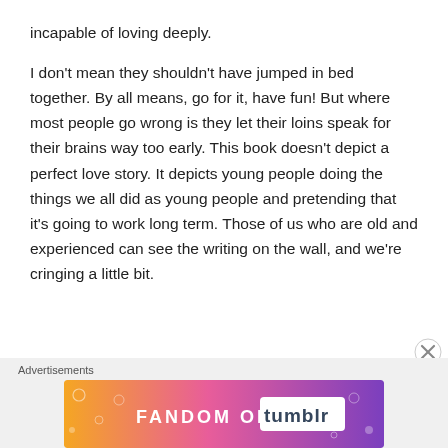incapable of loving deeply.

I don't mean they shouldn't have jumped in bed together. By all means, go for it, have fun! But where most people go wrong is they let their loins speak for their brains way too early. This book doesn't depict a perfect love story. It depicts young people doing the things we all did as young people and pretending that it's going to work long term. Those of us who are old and experienced can see the writing on the wall, and we're cringing a little bit.
[Figure (other): Fandom on Tumblr advertisement banner with orange-to-purple gradient and decorative icons]
Advertisements